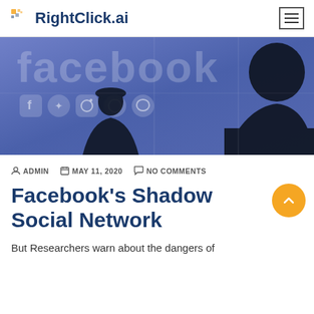RightClick.ai
[Figure (photo): Photo showing silhouettes of two people against a blue Facebook-branded background with social media icons]
ADMIN   MAY 11, 2020   NO COMMENTS
Facebook's Shadow Social Network
But Researchers warn about the dangers of